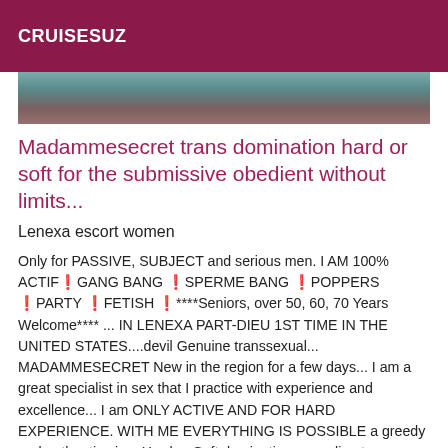CRUISESUZ
[Figure (photo): Partial photo of a person, cropped, showing upper body against dark background]
Madammesecret trans domination hard or soft for the submissive obedient without limits...
Lenexa escort women
Only for PASSIVE, SUBJECT and serious men. I AM 100% ACTIF❗GANG BANG ❗SPERME BANG ❗POPPERS ❗PARTY ❗FETISH ❗****Seniors, over 50, 60, 70 Years Welcome**** ... IN LENEXA PART-DIEU 1ST TIME IN THE UNITED STATES....devil Genuine transsexual... MADAMMESECRET New in the region for a few days... I am a great specialist in sex that I practice with experience and excellence... I am ONLY ACTIVE AND FOR HARD EXPERIENCE. WITH ME EVERYTHING IS POSSIBLE a greedy and authentic pig... Hard or Soft domination according to your desires,